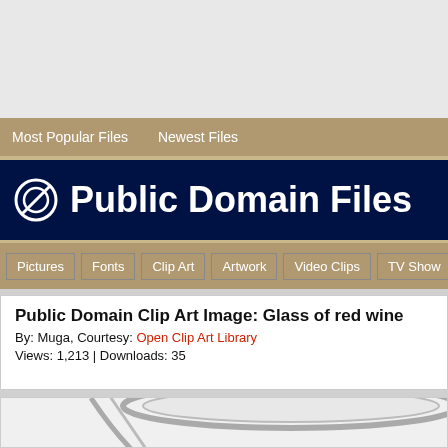Most Popular Files   Newest Files
⊘ Public Domain Files
Pictures | Fonts | Clip Art | Artwork | Video Clips | TV Show
Public Domain Clip Art Image: Glass of red wine
By: Muga, Courtesy: Open Clip Art Library
Views: 1,213 | Downloads: 35
[Figure (illustration): Partial view of a glass of red wine clip art image, showing the upper rim and top portion of the glass in grayscale/light gray tones against a light background.]